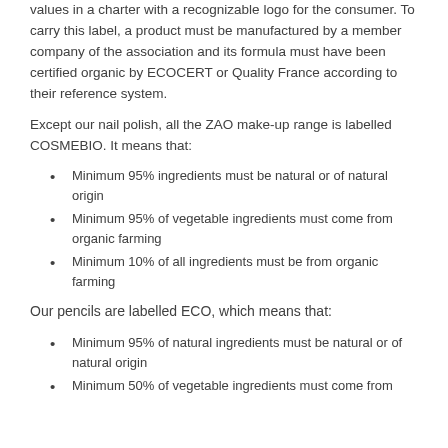values in a charter with a recognizable logo for the consumer. To carry this label, a product must be manufactured by a member company of the association and its formula must have been certified organic by ECOCERT or Quality France according to their reference system.
Except our nail polish, all the ZAO make-up range is labelled COSMEBIO. It means that:
Minimum 95% ingredients must be natural or of natural origin
Minimum 95% of vegetable ingredients must come from organic farming
Minimum 10% of all ingredients must be from organic farming
Our pencils are labelled ECO, which means that:
Minimum 95% of natural ingredients must be natural or of natural origin
Minimum 50% of vegetable ingredients must come from